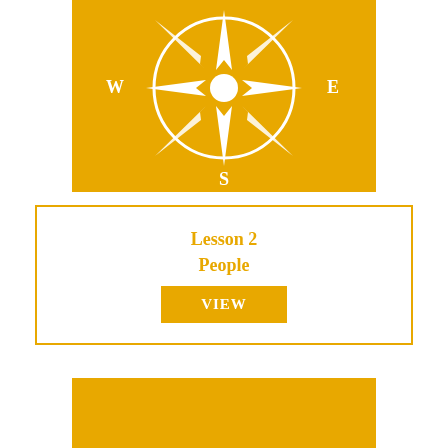[Figure (illustration): Compass rose on golden/amber background with N at top, S at bottom, W at left, E at right, white compass rose symbol in center]
Lesson 2
People
VIEW
[Figure (illustration): Partial golden/amber colored box at the bottom of page, similar to compass box above]